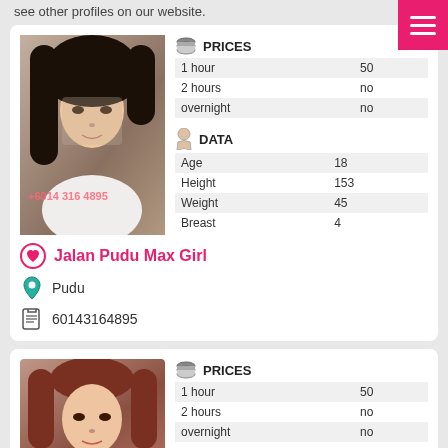see other profiles on our website.
[Figure (photo): Profile photo of young woman with dark hair, wearing white lace top, watermark +6014 316 4895]
|  | PRICES |  |
| --- | --- | --- |
| 1 hour | 50 |
| 2 hours | no |
| overnight | no |
|  | DATA |  |
| --- | --- | --- |
| Age | 18 |
| Height | 153 |
| Weight | 45 |
| Breast | 4 |
Jalan Pudu Max Girl
Pudu
60143164895
[Figure (photo): Profile photo of young woman with auburn/red hair, watermark KL Crown Girl]
|  | PRICES |  |
| --- | --- | --- |
| 1 hour | 50 |
| 2 hours | no |
| overnight | no |
|  | DATA |  |
| --- | --- | --- |
| Age | 18 |